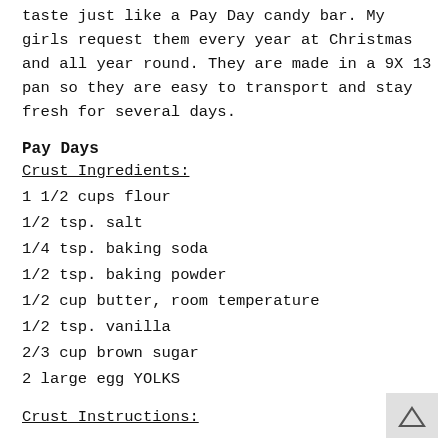taste just like a Pay Day candy bar. My girls request them every year at Christmas and all year round. They are made in a 9X 13 pan so they are easy to transport and stay fresh for several days.
Pay Days
Crust Ingredients:
1 1/2 cups flour
1/2 tsp. salt
1/4 tsp. baking soda
1/2 tsp. baking powder
1/2 cup butter, room temperature
1/2 tsp. vanilla
2/3 cup brown sugar
2 large egg YOLKS
Crust Instructions: